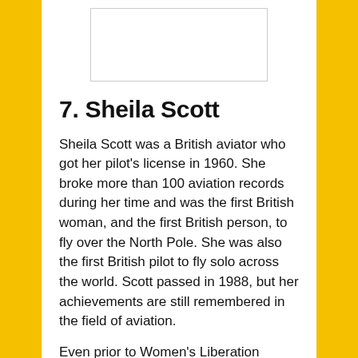[Figure (other): Rectangular image placeholder at the top of the white content area]
7. Sheila Scott
Sheila Scott was a British aviator who got her pilot's license in 1960. She broke more than 100 aviation records during her time and was the first British woman, and the first British person, to fly over the North Pole. She was also the first British pilot to fly solo across the world. Scott passed in 1988, but her achievements are still remembered in the field of aviation.
Even prior to Women's Liberation movements around the world, some women just etched out their